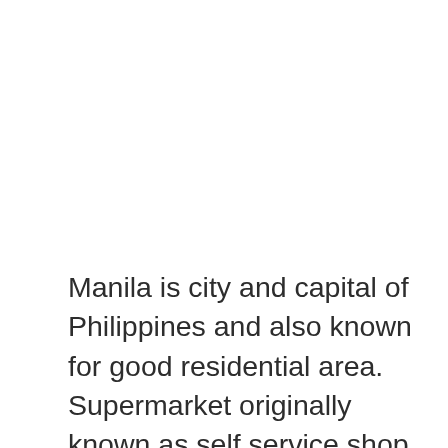Manila is city and capital of Philippines and also known for good residential area. Supermarket originally known as self service shop which offers a wide variety of Food and daily need products. You can purchase all kind products like fruits, vegetables, Grocery item through super market. Moreover, Supermarkets reckon in meat, daily and